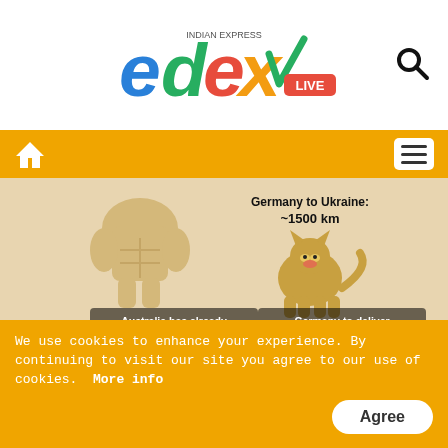[Figure (logo): EdexLive logo with colored letters e, d, e, x and a checkmark, with 'LIVE' in a red badge, and 'Indian Express' text above]
Navigation bar with home icon and hamburger menu
[Figure (photo): Meme image showing muscular figure labeled 'Australia has already delivered artillery and armored vehicles' and a Shiba Inu dog labeled 'Germany to deliver 15 Gepard tanks to Ukraine in July', with text 'Germany to Ukraine: ~1500 km']
The Weapon Of Comedy! See Top Most Poignant Ukraine War Memes
Brainberries
[Figure (photo): Partial photo of a person with dark hair against a grey background]
We use cookies to enhance your experience. By continuing to visit our site you agree to our use of cookies. More info